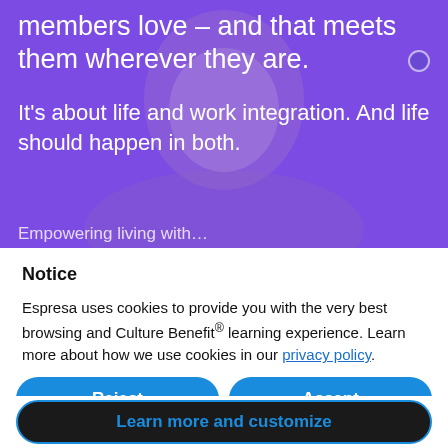members love – and that meets them wherever they are.
It's about life and work integration. And life should happen in both.
Notice
Espresa uses cookies to provide you with the very best browsing and Culture Benefit® learning experience. Learn more about how we use cookies in our privacy policy.
Reject
Accept
Learn more and customize